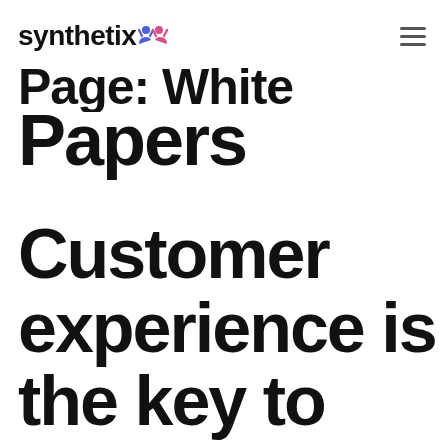synthetix [logo]
Page: White Papers
Customer experience is the key to creating value